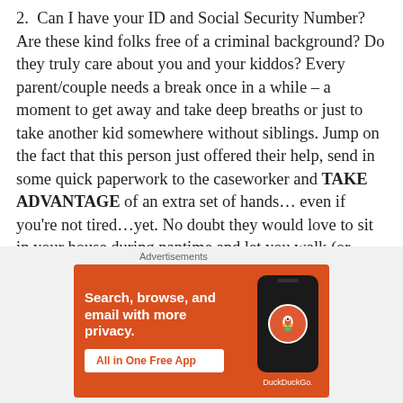2.  Can I have your ID and Social Security Number? Are these kind folks free of a criminal background? Do they truly care about you and your kiddos? Every parent/couple needs a break once in a while – a moment to get away and take deep breaths or just to take another kid somewhere without siblings. Jump on the fact that this person just offered their help, send in some quick paperwork to the caseworker and TAKE ADVANTAGE of an extra set of hands... even if you're not tired...yet. No doubt they would love to sit in your house during naptime and let you walk (or run!) around the block. Or perhaps you could drop your chilins' off for an hour or two of grocery shopping WITHOUT HELP! If your
Advertisements
[Figure (other): DuckDuckGo advertisement banner with orange background. Text: 'Search, browse, and email with more privacy. All in One Free App' with DuckDuckGo logo/duck icon on a phone mockup.]